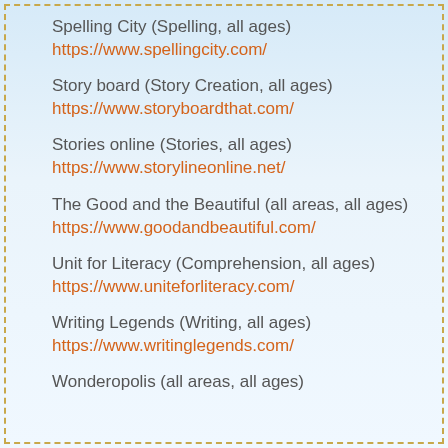Spelling City (Spelling, all ages)
https://www.spellingcity.com/
Story board (Story Creation, all ages)
https://www.storyboardthat.com/
Stories online (Stories, all ages)
https://www.storylineonline.net/
The Good and the Beautiful (all areas, all ages)
https://www.goodandbeautiful.com/
Unit for Literacy (Comprehension, all ages)
https://www.uniteforliteracy.com/
Writing Legends (Writing, all ages)
https://www.writinglegends.com/
Wonderopolis (all areas, all ages)